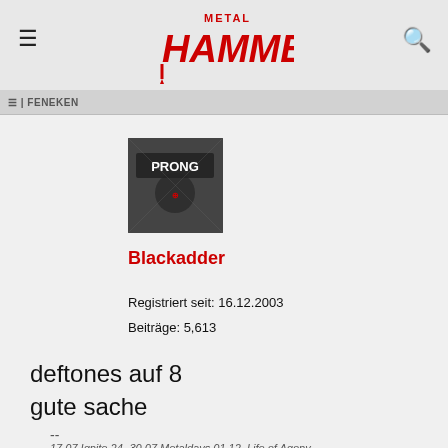Metal Hammer
[Figure (logo): Metal Hammer logo in red with stylized hammer graphic]
FENEKEN
[Figure (photo): Album cover image - Prong band album art]
Blackadder
Registriert seit: 16.12.2003
Beiträge: 5,613
deftones auf 8
gute sache
--
17.07.Ignite 24.-30.07.Metaldays 01.12. Life of Agony